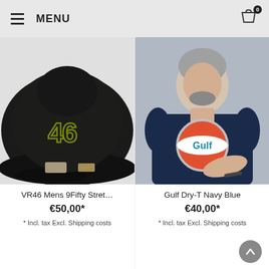MENU
[Figure (photo): Black VR46 New Era 9Fifty snapback cap with yellow-outlined number 46 embroidery on the front, shown on a white/light grey background.]
VR46 Mens 9Fifty Stret…
€50,00*
* Incl. tax Excl. Shipping costs
[Figure (photo): Middle-aged man with grey hair and beard wearing a navy blue t-shirt with a Gulf Oil circular logo (red and white circle with 'Gulf' in teal). He is holding sunglasses and looking at the camera.]
Gulf Dry-T Navy Blue
€40,00*
* Incl. tax Excl. Shipping costs